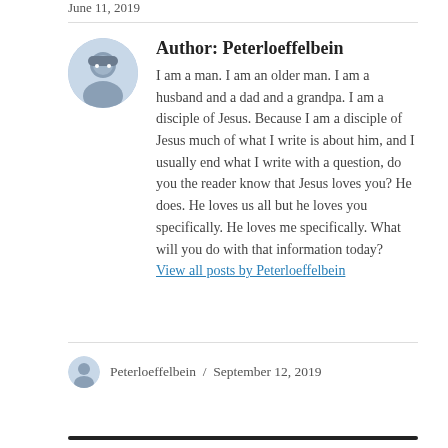June 11, 2019
Author: Peterloeffelbein
I am a man. I am an older man. I am a husband and a dad and a grandpa. I am a disciple of Jesus. Because I am a disciple of Jesus much of what I write is about him, and I usually end what I write with a question, do you the reader know that Jesus loves you? He does. He loves us all but he loves you specifically. He loves me specifically. What will you do with that information today?
View all posts by Peterloeffelbein
Peterloeffelbein / September 12, 2019